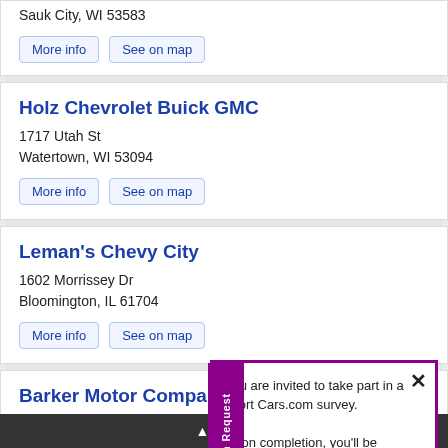Sauk City, WI 53583
More info | See on map
Holz Chevrolet Buick GMC
1717 Utah St
Watertown, WI 53094
More info | See on map
Leman's Chevy City
1602 Morrissey Dr
Bloomington, IL 61704
More info | See on map
Barker Motor Company
2030 E Ireland Grove Rd
Bloomington, IL 61704
More info | See on map
Research Request
You are invited to take part in a short Cars.com survey.

Upon completion, you'll be entered to win a $50 amazon gift card. Interested?
Click here to participate
▲ Back t…